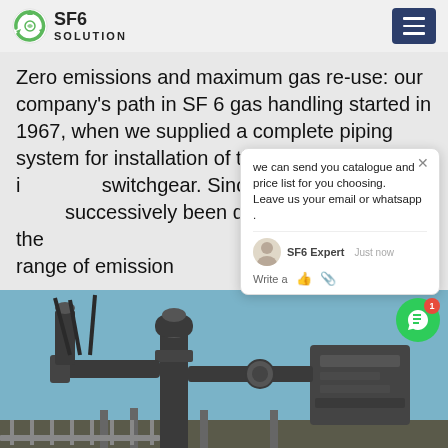SF6 SOLUTION
Zero emissions and maximum gas re-use: our company's path in SF 6 gas handling started in 1967, when we supplied a complete piping system for installation of the first SF 6 gas insulated switchgear. Since then, our products have successively been developed to the complete product range of emission
[Figure (screenshot): Chat popup overlay showing message: 'we can send you catalogue and price list for you choosing. Leave us your email or whatsapp .' with SF6 Expert avatar and just now timestamp, write input area with like and attachment icons]
[Figure (photo): Industrial SF6 gas insulated switchgear equipment photographed outdoors, showing large metallic pipes, valves and electrical components of high-voltage substation]